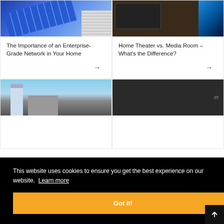[Figure (photo): Blue ethernet/network cables bundled together with white patch panel connectors]
The Importance of an Enterprise-Grade Network in Your Home
[Figure (photo): Home theater room with large screen TV and seating]
Home Theater vs. Media Room – What's the Difference?
[Figure (photo): City skyline with modern buildings against blue sky]
[Figure (photo): Dark image of electronic or AV equipment]
This website uses cookies to ensure you get the best experience on our website. Learn more
Got it!